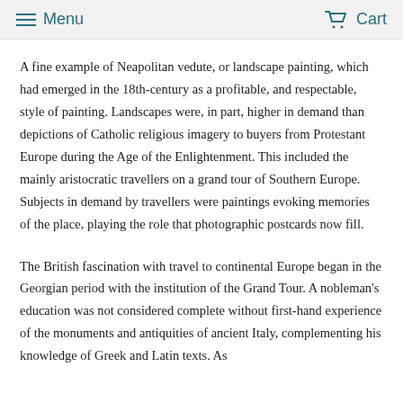Menu   Cart
A fine example of Neapolitan vedute, or landscape painting, which had emerged in the 18th-century as a profitable, and respectable, style of painting. Landscapes were, in part, higher in demand than depictions of Catholic religious imagery to buyers from Protestant Europe during the Age of the Enlightenment. This included the mainly aristocratic travellers on a grand tour of Southern Europe. Subjects in demand by travellers were paintings evoking memories of the place, playing the role that photographic postcards now fill.
The British fascination with travel to continental Europe began in the Georgian period with the institution of the Grand Tour. A nobleman's education was not considered complete without first-hand experience of the monuments and antiquities of ancient Italy, complementing his knowledge of Greek and Latin texts. As